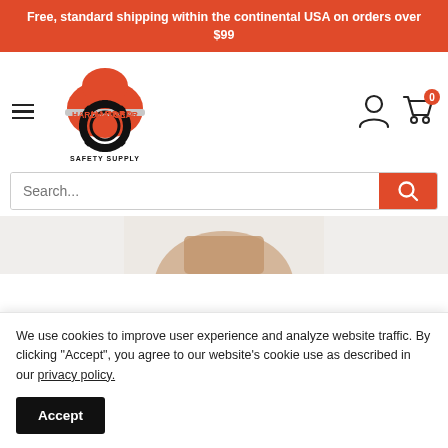Free, standard shipping within the continental USA on orders over $99
[Figure (logo): Hard Hat Gear Safety Supply logo with orange hard hat and gear/cog wheel]
Search...
[Figure (photo): Partial product image visible at bottom of page]
We use cookies to improve user experience and analyze website traffic. By clicking "Accept", you agree to our website's cookie use as described in our privacy policy.
Accept